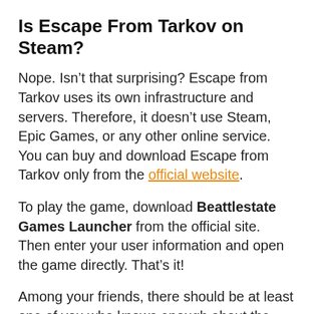Is Escape From Tarkov on Steam?
Nope. Isn’t that surprising? Escape from Tarkov uses its own infrastructure and servers. Therefore, it doesn’t use Steam, Epic Games, or any other online service. You can buy and download Escape from Tarkov only from the official website.
To play the game, download Beattlestate Games Launcher from the official site. Then enter your user information and open the game directly. That’s it!
Among your friends, there should be at least one of you who knows enough about the game to guide the other. Here are a few key things for you to know before jumping into Tarkov: